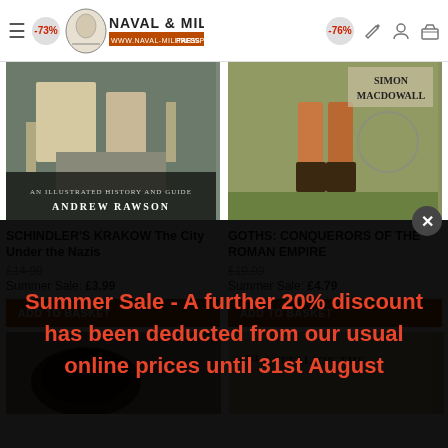Naval & Military Press — www.naval-military-press.com
[Figure (photo): Book cover: Schindler's Krakow - An Illustrated History and Guide by Andrew Rawson]
SCHINDLER'S KRAKOW The City Under the Nazis
£14.99
Summer Sale: £3.99
ADD TO BASKET
[Figure (photo): Book cover: Goths: Conquerors of the Roman Empire by Simon Macdowall]
GOTHS: CONQUERORS OF THE ROMAN EMPIRE
£19.99
Summer Sale: £4.79
ADD TO BASKET
[Figure (photo): Partial book cover image at bottom left]
[Figure (photo): Partial book cover: 6th Battalion The ...]
Summer Sale - A further 20% discount has been deducted from our usual online prices until 31st August